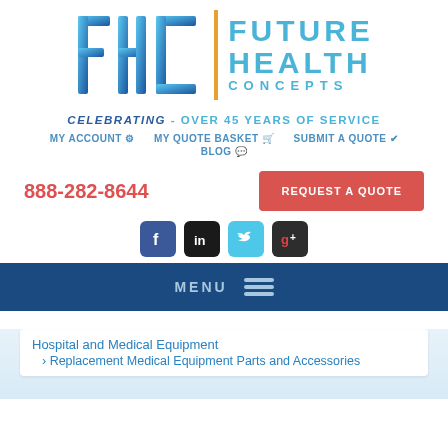[Figure (logo): Future Health Concepts (FHC) logo with blue gradient FHC letters, an orange vertical divider bar, and 'FUTURE HEALTH CONCEPTS' text in teal/blue]
CELEBRATING - OVER 45 YEARS OF SERVICE
MY ACCOUNT ⚙ MY QUOTE BASKET 🛒 SUBMIT A QUOTE ✔ BLOG 💬
888-282-8644
REQUEST A QUOTE
[Figure (illustration): Social media icons: Facebook, LinkedIn, Twitter, Google+]
MENU ≡
Hospital and Medical Equipment
Replacement Medical Equipment Parts and Accessories